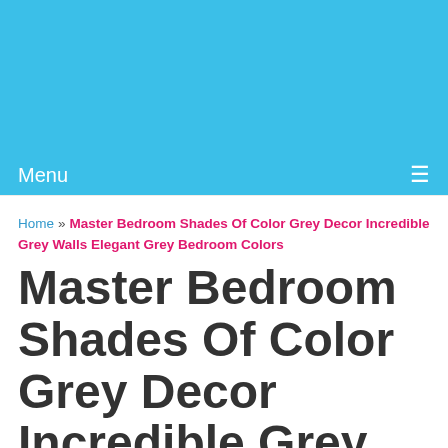[Figure (other): Blue header banner area at top of webpage]
Menu ☰
Home » Master Bedroom Shades Of Color Grey Decor Incredible Grey Walls Elegant Grey Bedroom Colors
Master Bedroom Shades Of Color Grey Decor Incredible Grey Walls Elegant Grey